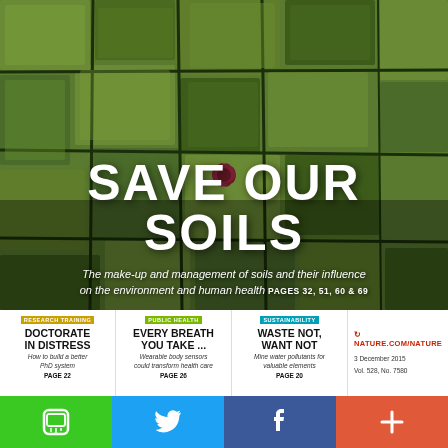[Figure (photo): Close-up of cracked dry soil covered with green moss/algae, with a small red plant growing in the center crack. Cover image for Nature journal.]
SAVE OUR SOILS
The make-up and management of soils and their influence on the environment and human health PAGES 32, 51, 60 & 69
RESEARCH TRAINING
DOCTORATE IN DISTRESS
How to build a better PhD system
PAGE 22
PUBLIC HEALTH
EVERY BREATH YOU TAKE ...
Wearable body sensors could transform health care
PAGE 26
SUSTAINABILITY
WASTE NOT, WANT NOT
Mine water pollutants for valuable elements
PAGE 20
NATURE.COM/NATURE
3 December 2015
Vol. 528, No. 7580